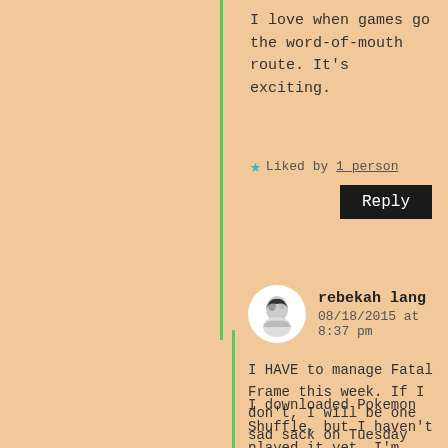I love when games go the word-of-mouth route. It's exciting.
★ Liked by 1 person
Reply
rebekah lang
08/18/2015 at 8:37 pm
I HAVE to manage Fatal Frame this week. If I don't, I will be one sad sack on Tuesday when I can't play my brand new copy of Until Dawn.
I downloaded Pokemon Shuffle, but I haven't played it yet. I'm afraid to start anything else with Pokemon in the title right